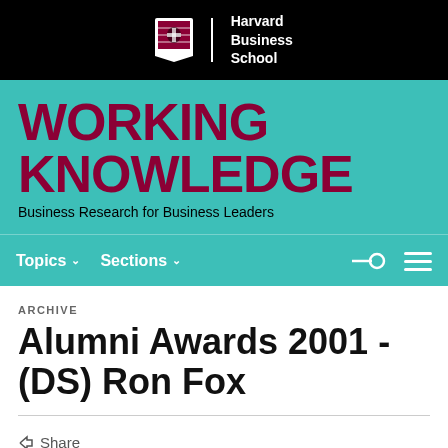[Figure (logo): Harvard Business School logo with shield and text on black background]
WORKING KNOWLEDGE
Business Research for Business Leaders
Topics   Sections
ARCHIVE
Alumni Awards 2001 - (DS) Ron Fox
Share
7/2/2001